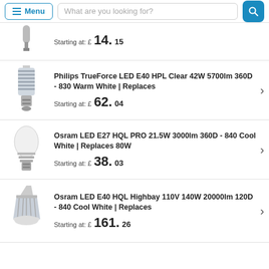Menu | What are you looking for?
Starting at: £ 14.15
Philips TrueForce LED E40 HPL Clear 42W 5700lm 360D - 830 Warm White | Replaces
Starting at: £ 62.04
Osram LED E27 HQL PRO 21.5W 3000lm 360D - 840 Cool White | Replaces 80W
Starting at: £ 38.03
Osram LED E40 HQL Highbay 110V 140W 20000lm 120D - 840 Cool White | Replaces
Starting at: £ 161.26